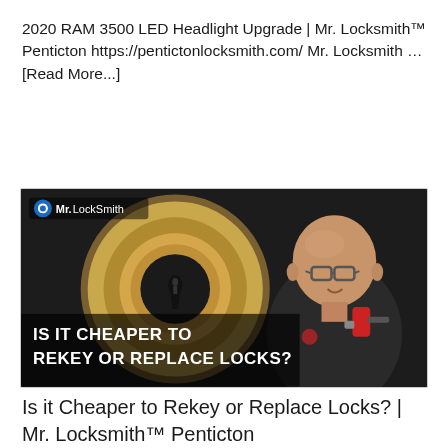2020 RAM 3500 LED Headlight Upgrade | Mr. Locksmith™ Penticton https://pentictonlocksmith.com/ Mr. Locksmith … [Read More...]
[Figure (photo): Thumbnail image showing a close-up of a brass deadbolt lock keyhole on the left and a bald man with glasses wearing a dark shirt holding a drill on the right. Text overlay reads 'IS IT CHEAPER TO REKEY OR REPLACE LOCKS?' with a Mr. Locksmith logo in the top left.]
Is it Cheaper to Rekey or Replace Locks? | Mr. Locksmith™ Penticton